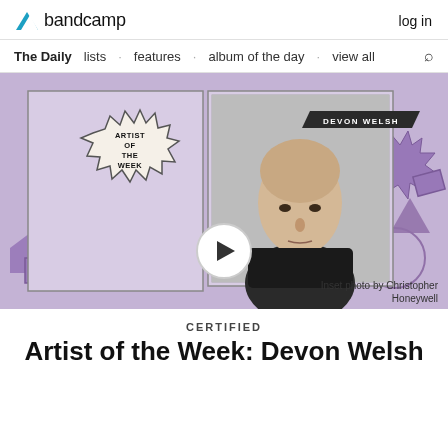bandcamp  log in
The Daily  lists · features · album of the day · view all
[Figure (illustration): Bandcamp 'Artist of the Week' promotional banner featuring Devon Welsh. Purple/mauve illustrated background with geometric shapes (triangles, circles, rectangles, zigzag shapes). Center shows a framed black-and-white photo of Devon Welsh, a bald man in a dark shirt. Top-left has a starburst badge reading 'ARTIST OF THE WEEK'. Top-right has a parallelogram label reading 'DEVON WELSH'. A play button circle overlaps the bottom center of the photo. Photo credit: Christopher Honeywell.]
Inset photo by Christopher Honeywell
CERTIFIED
Artist of the Week: Devon Welsh